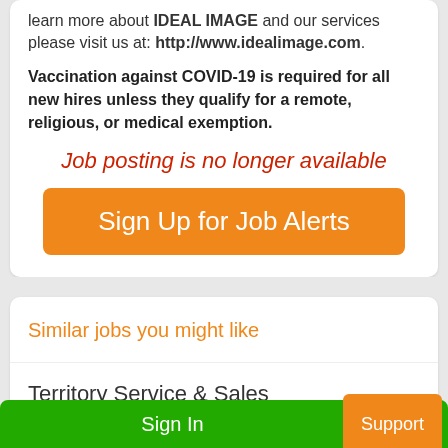learn more about IDEAL IMAGE and our services please visit us at: http://www.idealimage.com.
Vaccination against COVID-19 is required for all new hires unless they qualify for a remote, religious, or medical exemption.
Job posting is no longer available
Sign Up for Job Alerts
Similar jobs you might like
Territory Service & Sales Representative
Sign In
Support